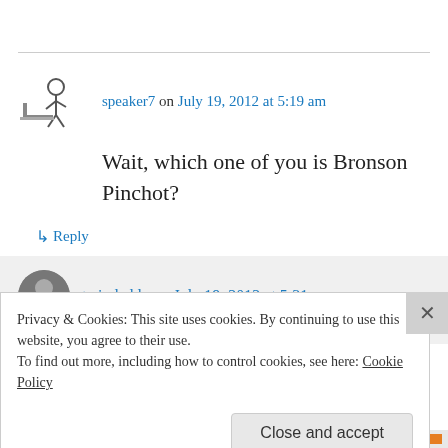speaker7 on July 19, 2012 at 5:19 am
Wait, which one of you is Bronson Pinchot?
↳ Reply
twindaddy on July 19, 2012 at 5:31 am
Privacy & Cookies: This site uses cookies. By continuing to use this website, you agree to their use.
To find out more, including how to control cookies, see here: Cookie Policy
Close and accept